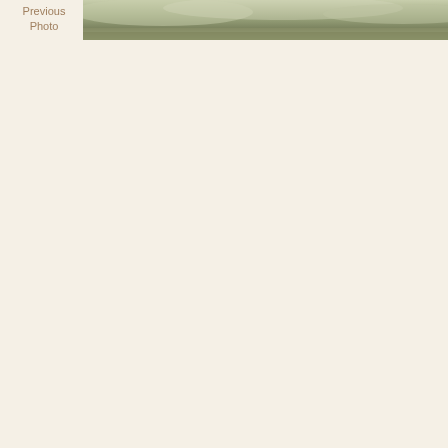[Figure (photo): A muted, hazy landscape photograph or banner image with olive-green and grey tones, appearing at the top of the page as a decorative header strip.]
Previous
Photo